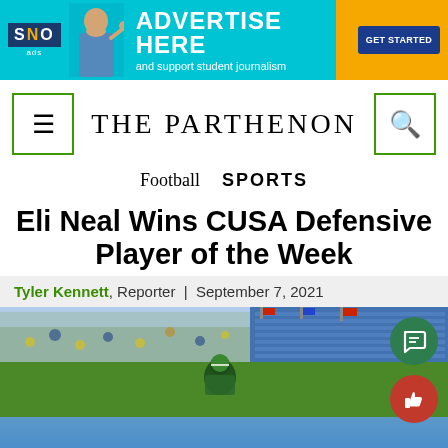[Figure (infographic): SNO Ads banner advertisement: cyan/teal and orange background with a student pointing, text 'ADVERTISE HERE and support student journalism' with a 'GET STARTED' button]
THE PARTHENON
Football   SPORTS
Eli Neal Wins CUSA Defensive Player of the Week
Tyler Kennett, Reporter | September 7, 2021
[Figure (photo): Football stadium crowd photo with players on field, blue stadium seating visible in background]